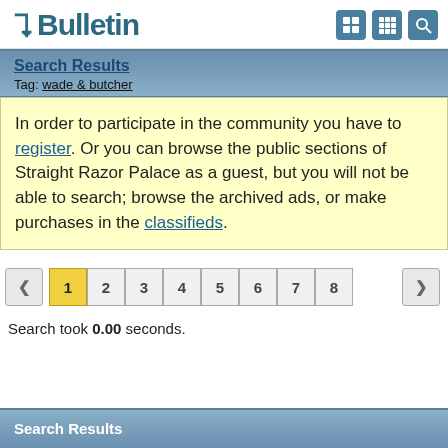vBulletin
Search Results
Tag: wade & butcher
In order to participate in the community you have to register. Or you can browse the public sections of Straight Razor Palace as a guest, but you will not be able to search; browse the archived ads, or make purchases in the classifieds.
1 2 3 4 5 6 7 8
Search took 0.00 seconds.
Search Results